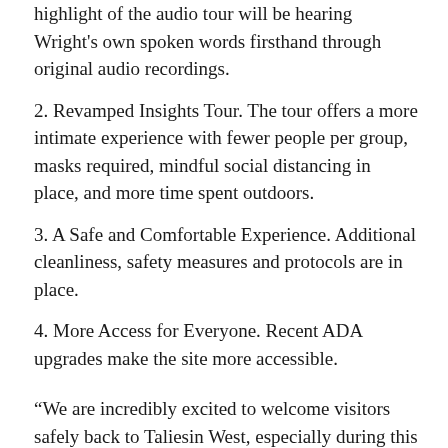highlight of the audio tour will be hearing Wright's own spoken words firsthand through original audio recordings.
2. Revamped Insights Tour. The tour offers a more intimate experience with fewer people per group, masks required, mindful social distancing in place, and more time spent outdoors.
3. A Safe and Comfortable Experience. Additional cleanliness, safety measures and protocols are in place.
4. More Access for Everyone. Recent ADA upgrades make the site more accessible.
“We are incredibly excited to welcome visitors safely back to Taliesin West, especially during this time when Frank Lloyd Wright’s inspiring work is needed most,” said Kevin Conley, vice president of public engagement for the Frank Lloyd Wright Foundation. “For the past several months, we’ve all been feeling disconnected from the people and world around us. Wright’s work teaches us how to stay more deeply